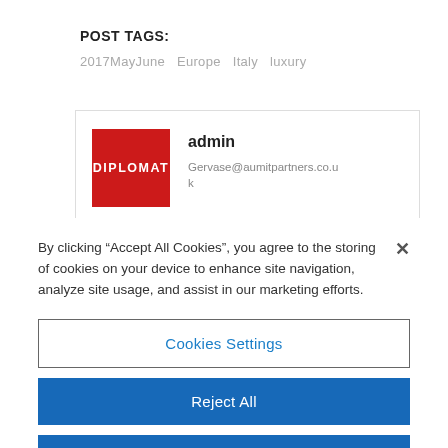POST TAGS:
2017MayJune   Europe   Italy   luxury
[Figure (logo): Red rectangle with white bold text DIPLOMAT]
admin
Gervase@aumitpartners.co.uk
By clicking “Accept All Cookies”, you agree to the storing of cookies on your device to enhance site navigation, analyze site usage, and assist in our marketing efforts.
Cookies Settings
Reject All
Accept All Cookies